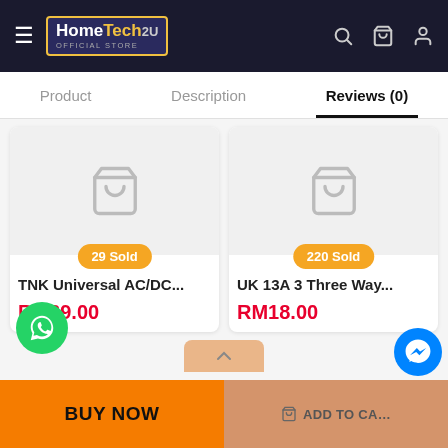HomeTech2u Official Store — navigation header with search, cart, and user icons
Product | Description | Reviews (0)
[Figure (screenshot): Product card: TNK Universal AC/DC... — 29 Sold badge, price RM39.00]
[Figure (screenshot): Product card: UK 13A 3 Three Way... — 220 Sold badge, price RM18.00]
BUY NOW
ADD TO CART